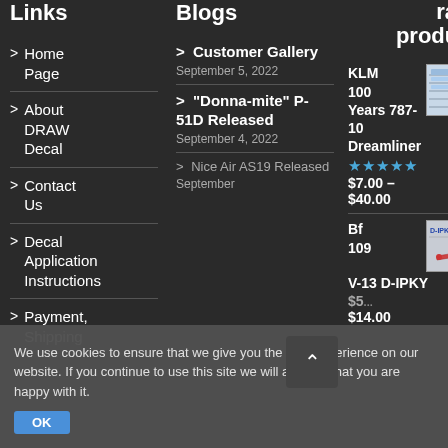Links
> Home Page
> About DRAW Decal
> Contact Us
> Decal Application Instructions
> Payment, Shipping
Blogs
> Customer Gallery — September 5, 2022
> "Donna-mite" P-51D Released — September 4, 2022
> Nice Air AS19 Released — September
rated products
KLM 100 Years 787-10 Dreamliner — ★★★★★ — $7.00 – $40.00
[Figure (photo): KLM decal product image]
Bf 109 V-13 D-IPKY — $5... – $14.00
[Figure (photo): Bf 109 D-IPKY decal product image]
We use cookies to ensure that we give you the best experience on our website. If you continue to use this site we will assume that you are happy with it.
OK